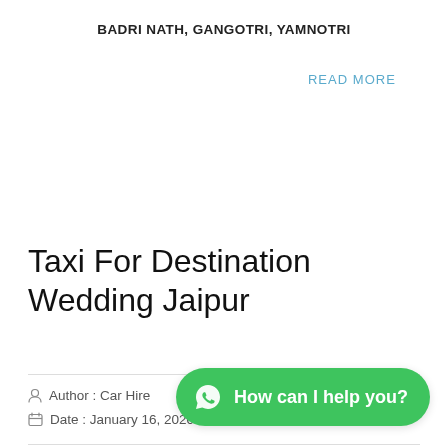BADRI NATH, GANGOTRI, YAMNOTRI
READ MORE
Taxi For Destination Wedding Jaipur
Author : Car Hire
Date : January 16, 2020
Bhagwati Tours & ... Wedding Car Rental Jaipur With Include a
[Figure (other): WhatsApp chat button overlay with text 'How can I help you?']